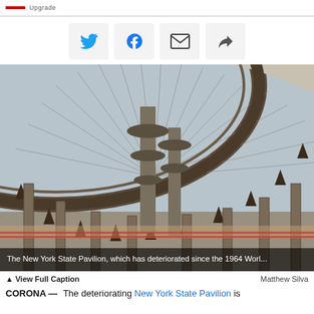Upgrade
[Figure (other): Social share buttons: Twitter, Facebook, Email, Share]
[Figure (photo): The New York State Pavilion, which has deteriorated since the 1964 World's Fair, showing the rusted circular roof structure with cables, tall towers, and deteriorated floor and walls.]
The New York State Pavilion, which has deteriorated since the 1964 Worl...
▲ View Full Caption
Matthew Silva
CORONA — The deteriorating New York State Pavilion is